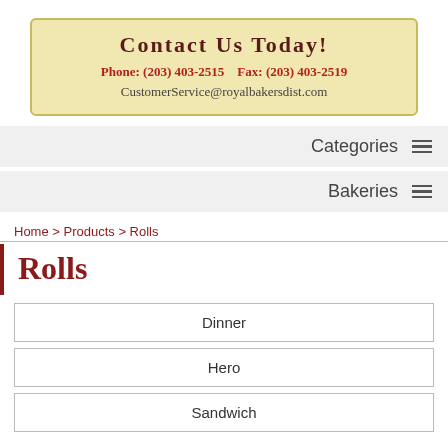[Figure (infographic): Contact Us banner with phone, fax, and email on a tan/gold background with decorative border]
Categories ≡
Bakeries ≡
Home > Products > Rolls
Rolls
Dinner
Hero
Sandwich